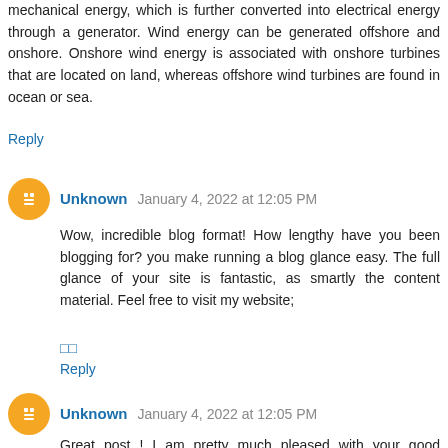mechanical energy, which is further converted into electrical energy through a generator. Wind energy can be generated offshore and onshore. Onshore wind energy is associated with onshore turbines that are located on land, whereas offshore wind turbines are found in ocean or sea.
Reply
Unknown  January 4, 2022 at 12:05 PM
Wow, incredible blog format! How lengthy have you been blogging for? you make running a blog glance easy. The full glance of your site is fantastic, as smartly the content material. Feel free to visit my website;
□□
Reply
Unknown  January 4, 2022 at 12:05 PM
Great post ! I am pretty much pleased with your good post.You put really very helpful information. Feel free to